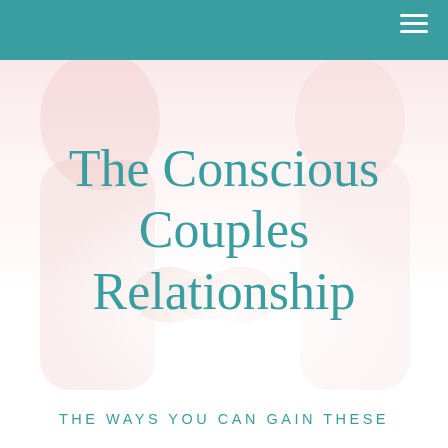[Figure (photo): Two people holding hands, soft pink/white background image of a couple in light clothing. The image is washed out in soft pastel pink and white tones.]
The Conscious Couples Relationship
THE WAYS YOU CAN GAIN THESE